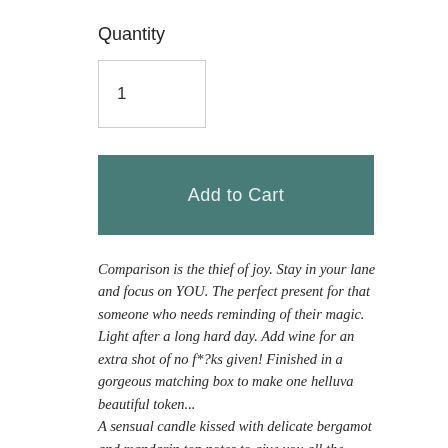Quantity
1
Add to Cart
Comparison is the thief of joy. Stay in your lane and focus on YOU. The perfect present for that someone who needs reminding of their magic. Light after a long hard day. Add wine for an extra shot of no f*?ks given! Finished in a gorgeous matching box to make one helluva beautiful token... A sensual candle kissed with delicate bergamot and mandarin top notes to give you all the feels. A rich bouquet of